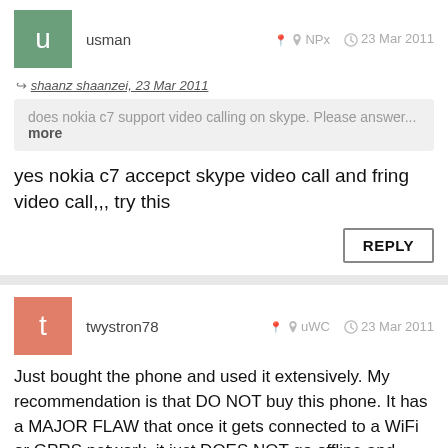usman — NPx — 23 Mar 2011
↪ shaanz shaanzei, 23 Mar 2011
does nokia c7 support video calling on skype. Please answer... more
yes nokia c7 accepct skype video call and fring video call,,, try this
REPLY
twystron78 — uWC — 23 Mar 2011
Just bought the phone and used it extensively. My recommendation is that DO NOT buy this phone. It has a MAJOR FLAW that once it gets connected to a WiFi or GPRS network, it just DOES NOT go offline and drains all your battery in less than a day. I am an advanced user of phones and trust me that I have shut off every application in the phone which might use internet and kept all the connections on this phone to "Manual connection" but this cell just